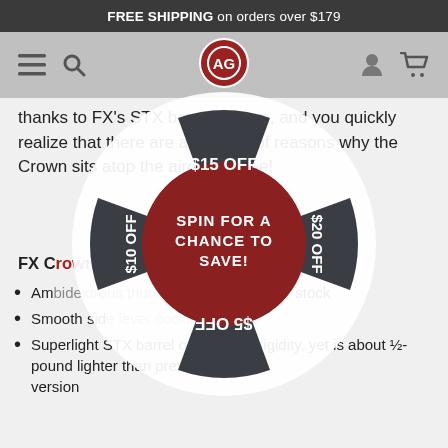FREE SHIPPING on orders over $179
[Figure (other): Website navigation bar with hamburger menu, search icon, AG logo (red circle with AG initials), user account icon, and shopping cart icon]
thanks to FX's STX barrel system, and you quickly realize that there are a number of reasons why the Crown sits atop the airgun throne!
FX Crown MkII PCP Air Rifle, Walnut Stock
Ambidextrous thumbhole walnut Minelli stock
Smooth side lever cocking system
Superlight STX barrel offers more rigidity, yet is about ½-pound lighter than previous version
[Figure (other): Spin wheel promotional overlay with four dark segments labeled $15 OFF (top), $20 OFF (right, rotated), $5 OFF (bottom, upside-down), $10 OFF (left, rotated), and a red center circle with text SPIN FOR A CHANCE TO SAVE!]